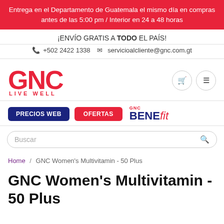Entrega en el Departamento de Guatemala el mismo día en compras antes de las 5:00 pm / Interior en 24 a 48 horas
¡ENVÍO GRATIS A TODO EL PAÍS!
📞 +502 2422 1338  ✉ servicioalcliente@gnc.com.gt
[Figure (logo): GNC Live Well logo in red]
PRECIOS WEB   OFERTAS   GNC BENEfit
Buscar
Home / GNC Women's Multivitamin - 50 Plus
GNC Women's Multivitamin - 50 Plus